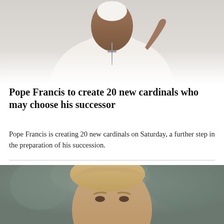[Figure (photo): Pope Francis dressed in white papal robes and white skullcap, wearing a silver cross necklace, waving with one hand raised against a light gray background.]
Pope Francis to create 20 new cardinals who may choose his successor
Pope Francis is creating 20 new cardinals on Saturday, a further step in the preparation of his succession.
[Figure (photo): Close-up photo of an older man with blond/gray hair, appearing to be looking slightly to the side, with a blurred outdoor background with trees.]